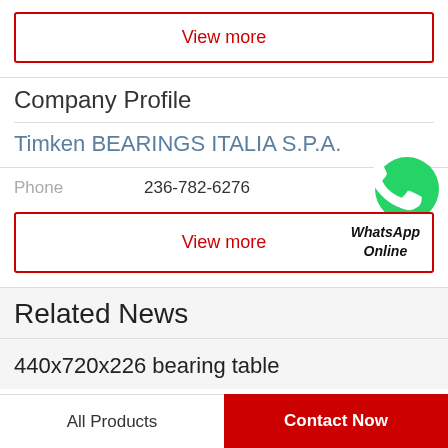View more
Company Profile
Timken BEARINGS ITALIA S.P.A.
Phone  236-782-6276
[Figure (logo): Green WhatsApp phone icon circle]
View more
WhatsApp Online
Related News
440x720x226 bearing table
All Products
Contact Now